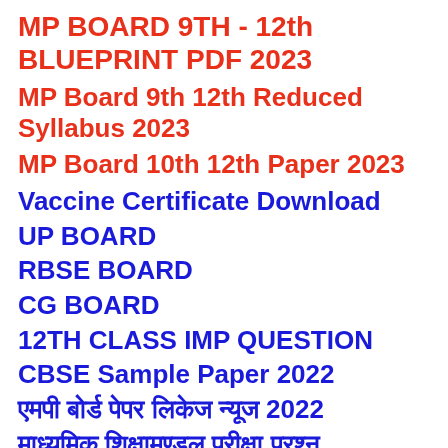MP BOARD 9TH - 12th BLUEPRINT PDF 2023
MP Board 9th 12th Reduced Syllabus 2023
MP Board 10th 12th Paper 2023
Vaccine Certificate Download
UP BOARD
RBSE BOARD
CG BOARD
12TH CLASS IMP QUESTION
CBSE Sample Paper 2022
एमपी बोर्ड पेपर लिकेज न्यूज 2022
माध्यमिक शिक्षामण्डल परीक्षा प्रश्न
माध्यमिक शिक्षा मण्डल मध्य प्र